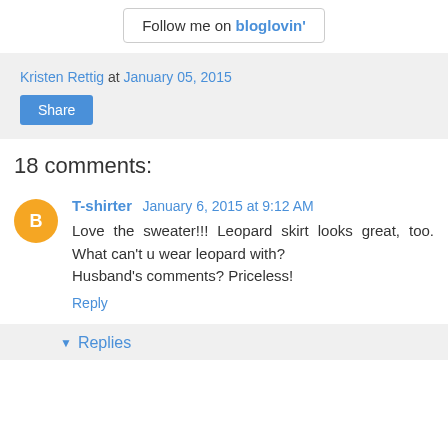[Figure (other): Follow me on bloglovin' button/badge]
Kristen Rettig at January 05, 2015
Share
18 comments:
T-shirter  January 6, 2015 at 9:12 AM
Love the sweater!!! Leopard skirt looks great, too. What can't u wear leopard with?
Husband's comments? Priceless!
Reply
Replies